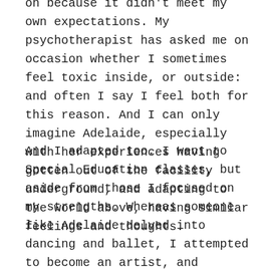on because it didn't meet my own expectations. My psychotherapist has asked me on occasion whether I sometimes feel toxic inside, or outside: and often I say I feel both for this reason. And I can only imagine Adelaide, especially with her experiences having gotten out of the facility underground, and adapting to the world above, having similar feelings and thoughts.
And I adapted too. I went to Special Education classes, but aside from those I focused on my strengths. Whereas someone like Adelaide delved into dancing and ballet, I attempted to become an artist, and eventually a writer. Overtime, as I went through the ranks of the public school system and university, I weeded